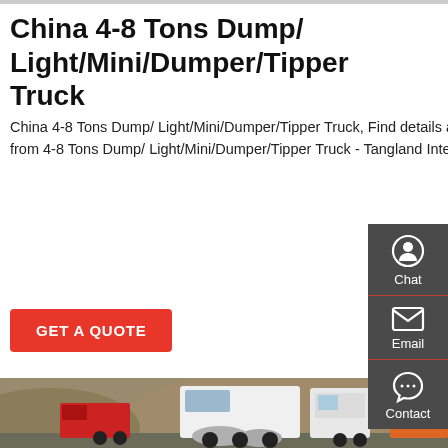China 4-8 Tons Dump/ Light/Mini/Dumper/Tipper Truck
China 4-8 Tons Dump/ Light/Mini/Dumper/Tipper Truck, Find details about China Heavy Duty Dump Trucks, Cargo Box Van Truck from 4-8 Tons Dump/ Light/Mini/Dumper/Tipper Truck - Tangland International Trading Co., Ltd.
GET A QUOTE
[Figure (photo): Multiple large trucks and semi-trucks parked in an outdoor lot with hills in the background, including white, red, and orange trucks.]